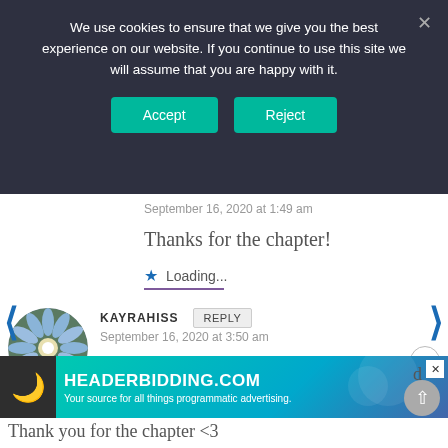[Figure (screenshot): Cookie consent banner with dark background, Accept and Reject buttons, and close X]
September 16, 2020 at 1:49 am
Thanks for the chapter!
Loading...
[Figure (photo): Circular avatar of a blue flower (chicory)]
KAYRAHISS
September 16, 2020 at 3:50 am
Poor Duan Hengye – it must be
[Figure (screenshot): HEADERBIDDING.COM advertisement banner - Your source for all things programmatic advertising.]
Thank you for the chapter <3